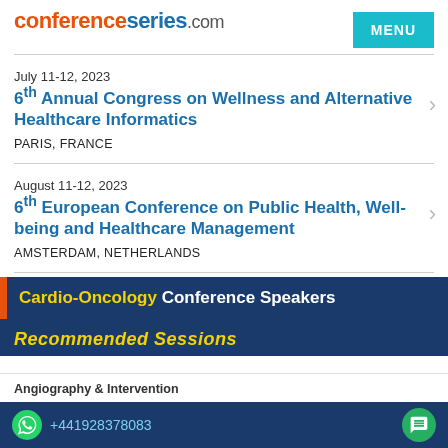conferenceseries.com | MENU
July 11-12, 2023
6th Annual Congress on Wellness and Alternative Healthcare Informatics
PARIS, FRANCE
August 11-12, 2023
6th European Conference on Public Health, Well-being and Healthcare Management
AMSTERDAM, NETHERLANDS
Cardio-Oncology Conference Speakers
Recommended Sessions
Angiography & Intervention
+441928378083